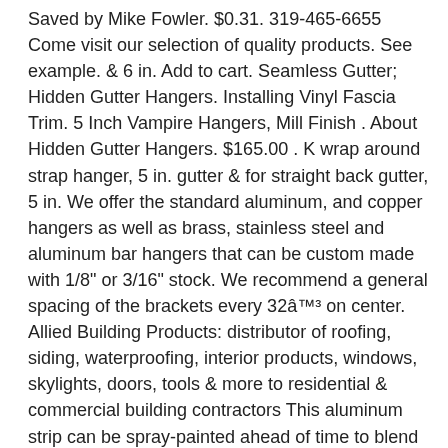Saved by Mike Fowler. $0.31. 319-465-6655 Come visit our selection of quality products. See example. & 6 in. Add to cart. Seamless Gutter; Hidden Gutter Hangers. Installing Vinyl Fascia Trim. 5 Inch Vampire Hangers, Mill Finish . About Hidden Gutter Hangers. $165.00 . K wrap around strap hanger, 5 in. gutter & for straight back gutter, 5 in. We offer the standard aluminum, and copper hangers as well as brass, stainless steel and aluminum bar hangers that can be custom made with 1/8" or 3/16" stock. We recommend a general spacing of the brackets every 32â™³ on center. Allied Building Products: distributor of roofing, siding, waterproofing, interior products, windows, skylights, doors, tools & more to residential & commercial building contractors This aluminum strip can be spray-painted ahead of time to blend in seamlessly with the color of the gutter. Contact the Englert Customer Value Center at 1.800.ENGLERT (1-800-364-5378) for more information and for assistance in purchasing coil and accessories for K-Style Gutters. H-